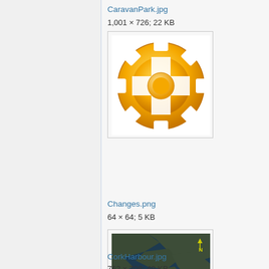CaravanPark.jpg
1,001 × 726; 22 KB
[Figure (photo): Thumbnail of CaravanPark.jpg showing a yellow gear/cog icon on a circular golden disc]
Changes.png
64 × 64; 5 KB
[Figure (photo): Thumbnail of CorkHarbour.jpg showing a satellite aerial view of Cork Harbour with dark blue water and islands, with a yellow N arrow compass in top right]
CorkHarbour.jpg
762 × 708; 49 KB